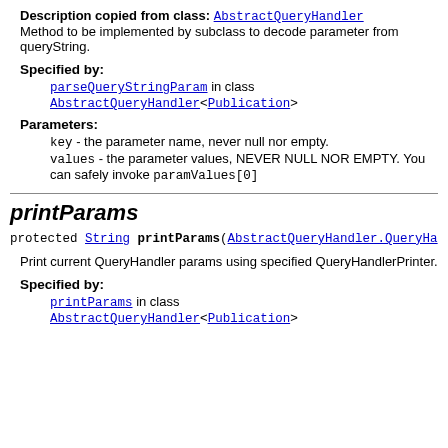Description copied from class: AbstractQueryHandler
Method to be implemented by subclass to decode parameter from queryString.
Specified by:
parseQueryStringParam in class AbstractQueryHandler<Publication>
Parameters:
key - the parameter name, never null nor empty.
values - the parameter values, NEVER NULL NOR EMPTY. You can safely invoke paramValues[0]
printParams
protected String printParams(AbstractQueryHandler.QueryHa...
Print current QueryHandler params using specified QueryHandlerPrinter.
Specified by:
printParams in class AbstractQueryHandler<Publication>